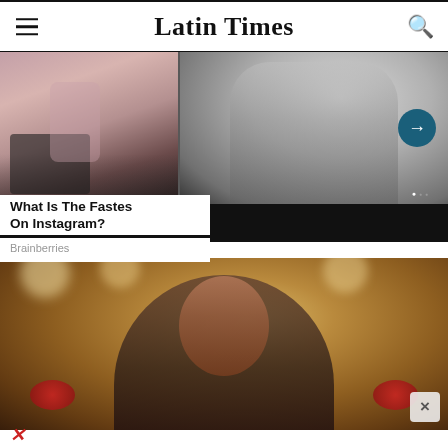Latin Times
[Figure (photo): Advertisement panel with two images: left shows a person in pink sitting in a salon chair, right shows a black-and-white photo of a person in a white robe. Navigation arrow and dot indicators visible.]
What Is The Fastes On Instagram?
Brainberries
[Figure (photo): Advertisement showing a man with an expressive face, wearing a black outfit with red roses, in an ornate restaurant setting with warm golden tones. Close button (X) visible in bottom right.]
×